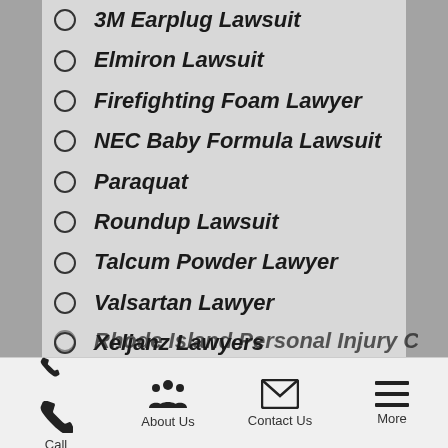3M Earplug Lawsuit
Elmiron Lawsuit
Firefighting Foam Lawyer
NEC Baby Formula Lawsuit
Paraquat
Roundup Lawsuit
Talcum Powder Lawyer
Valsartan Lawyer
Xeljanz Lawyers
Zantac Lawsuit
Call | About Us | Contact Us | More